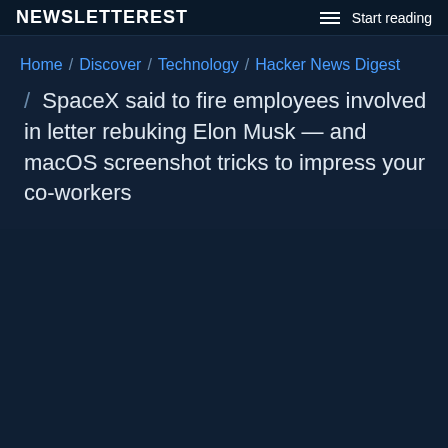NEWSLETTEREST  Start reading
Home / Discover / Technology / Hacker News Digest / SpaceX said to fire employees involved in letter rebuking Elon Musk — and macOS screenshot tricks to impress your co-workers